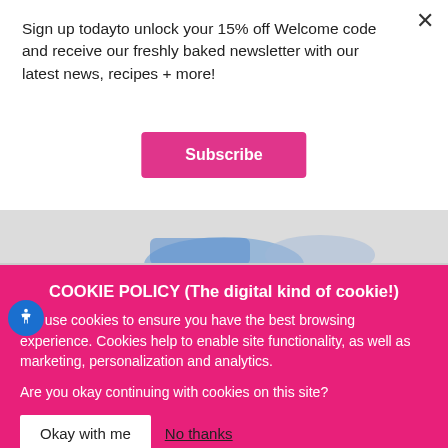Sign up todayto unlock your 15% off Welcome code and receive our freshly baked newsletter with our latest news, recipes + more!
Subscribe
[Figure (photo): Product image strip showing packaged cookies/biscuits partially visible]
COOKIE POLICY (The digital kind of cookie!)
We use cookies to ensure you have the best browsing experience. Cookies help to enable site functionality, as well as marketing, personalization and analytics.
Are you okay continuing with cookies on this site?
Okay with me
No thanks